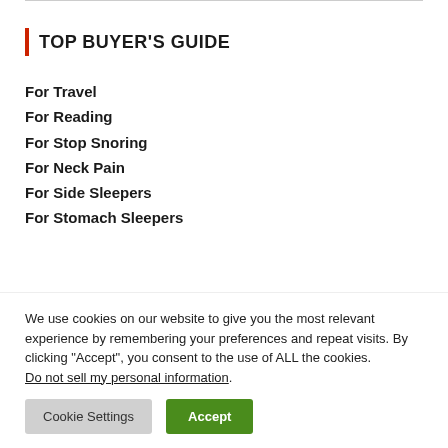TOP BUYER'S GUIDE
For Travel
For Reading
For Stop Snoring
For Neck Pain
For Side Sleepers
For Stomach Sleepers
We use cookies on our website to give you the most relevant experience by remembering your preferences and repeat visits. By clicking “Accept”, you consent to the use of ALL the cookies. Do not sell my personal information.